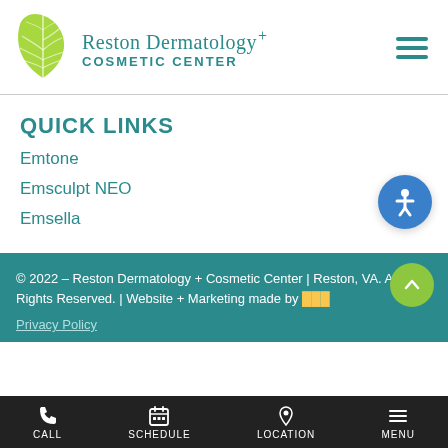[Figure (logo): Reston Dermatology + Cosmetic Center logo with green leaf icon and teal text]
QUICK LINKS
Emtone
Emsculpt NEO
Emsella
© 2022 – Reston Dermatology + Cosmetic Center | Reston, VA. All Rights Reserved. | Website + Marketing made by
Privacy Policy